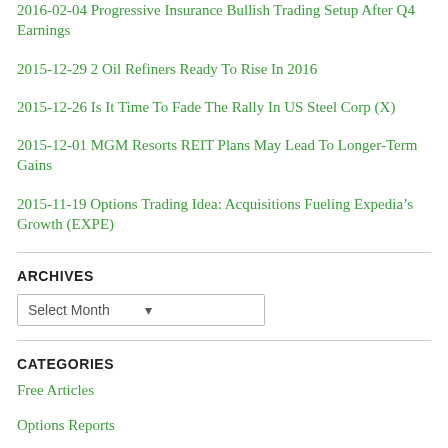2016-02-04 Progressive Insurance Bullish Trading Setup After Q4 Earnings
2015-12-29 2 Oil Refiners Ready To Rise In 2016
2015-12-26 Is It Time To Fade The Rally In US Steel Corp (X)
2015-12-01 MGM Resorts REIT Plans May Lead To Longer-Term Gains
2015-11-19 Options Trading Idea: Acquisitions Fueling Expedia’s Growth (EXPE)
ARCHIVES
Select Month
CATEGORIES
Free Articles
Options Reports
Options Risk Management
ORM Market Commentary